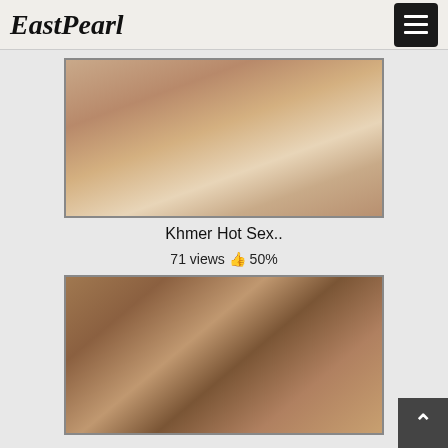EastPearl
[Figure (photo): Blurred close-up skin tones photo used as video thumbnail]
Khmer Hot Sex..
71 views 👍 50%
[Figure (photo): Close-up hands photo used as video thumbnail]